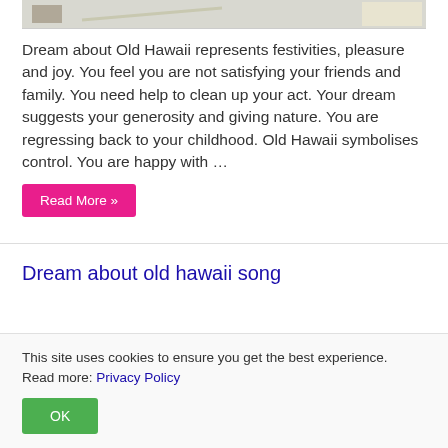[Figure (photo): Partial image at top of page, appears to be a cropped photograph]
Dream about Old Hawaii represents festivities, pleasure and joy. You feel you are not satisfying your friends and family. You need help to clean up your act. Your dream suggests your generosity and giving nature. You are regressing back to your childhood. Old Hawaii symbolises control. You are happy with …
Read More »
Dream about old hawaii song
This site uses cookies to ensure you get the best experience. Read more: Privacy Policy
OK